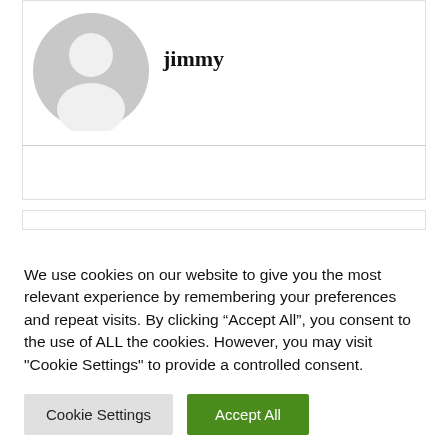[Figure (illustration): Default user avatar icon — a grey circular silhouette of a person (head and shoulders)]
jimmy
We use cookies on our website to give you the most relevant experience by remembering your preferences and repeat visits. By clicking “Accept All”, you consent to the use of ALL the cookies. However, you may visit "Cookie Settings" to provide a controlled consent.
Cookie Settings | Accept All